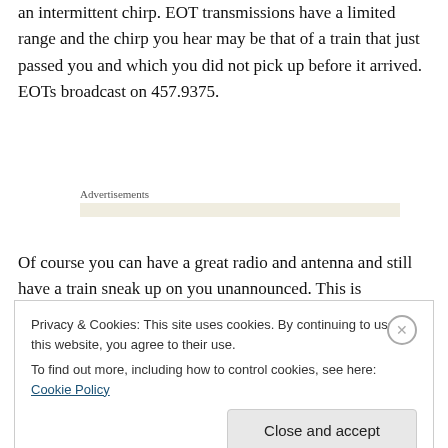an intermittent chirp. EOT transmissions have a limited range and the chirp you hear may be that of a train that just passed you and which you did not pick up before it arrived. EOTs broadcast on 457.9375.
Advertisements
Of course you can have a great radio and antenna and still have a train sneak up on you unannounced. This is particularly a problem on “dark” railroads where trains do
Privacy & Cookies: This site uses cookies. By continuing to use this website, you agree to their use.
To find out more, including how to control cookies, see here: Cookie Policy
Close and accept